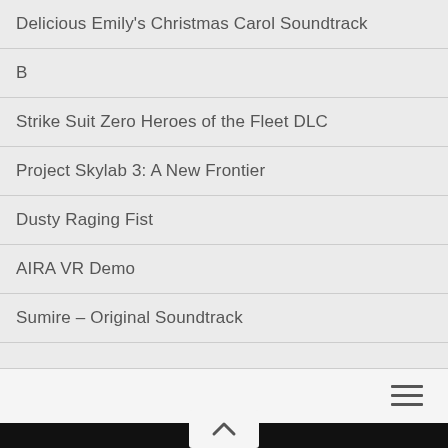Delicious Emily's Christmas Carol Soundtrack
B
Strike Suit Zero Heroes of the Fleet DLC
Project Skylab 3: A New Frontier
Dusty Raging Fist
AIRA VR Demo
Sumire – Original Soundtrack